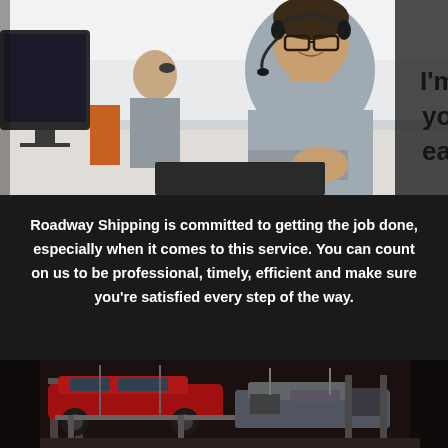[Figure (photo): Call center employee wearing headset and glasses smiling at camera, with colleagues working at computers in background]
Roadway Shipping is committed to getting the job done, especially when it comes to this service. You can count on us to be professional, timely, efficient and make sure you're satisfied every step of the way.
[Figure (photo): Cars on vehicle lifts in an automotive repair or shipping facility, red and dark colored vehicles visible]